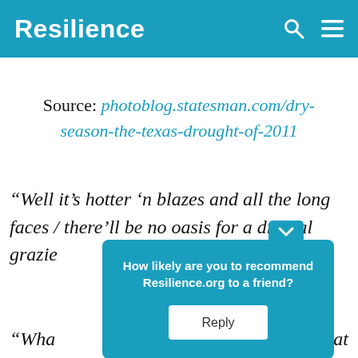Resilience
Source: photoblog.statesman.com/dry-season-the-texas-drought-of-2011
“Well it’s hotter ’n blazes and all the long faces / there’ll be no oasis for a dry local grazie
“Wha… hat
[Figure (screenshot): Popup overlay asking 'How likely are you to recommend Resilience.org to a friend?' with a Reply button]